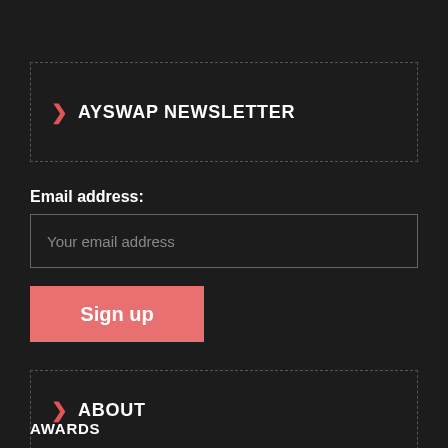AYSWAP NEWSLETTER
Email address:
Your email address
Sign up
ABOUT
AWARDS